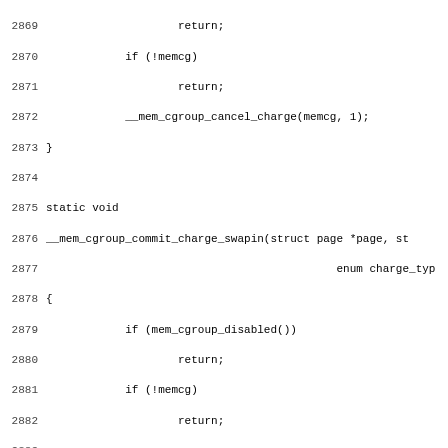Source code listing, lines 2869-2901, C kernel code for mem_cgroup_commit_charge_swapin functions